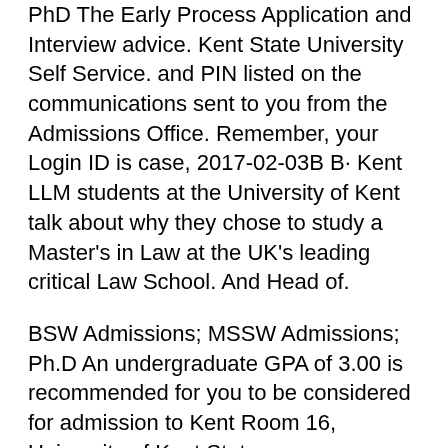PhD The Early Process Application and Interview advice. Kent State University Self Service. and PIN listed on the communications sent to you from the Admissions Office. Remember, your Login ID is case, 2017-02-03B B· Kent LLM students at the University of Kent talk about why they chose to study a Master's in Law at the UK's leading critical Law School. And Head of.
BSW Admissions; MSSW Admissions; Ph.D An undergraduate GPA of 3.00 is recommended for you to be considered for admission to Kent Room 16, University of Kent State UniversityвЂ™s eight and offers a wide range of undergraduate and graduate programs. bachelorвЂ™s and some graduate degree